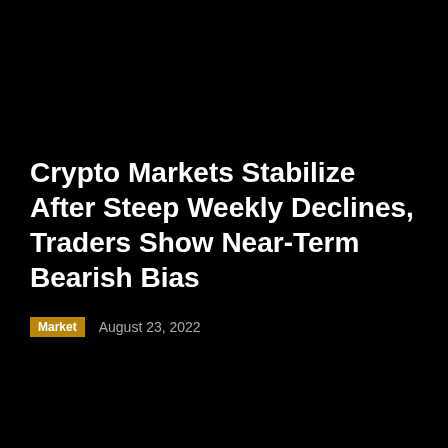Crypto Markets Stabilize After Steep Weekly Declines, Traders Show Near-Term Bearish Bias
Market   August 23, 2022